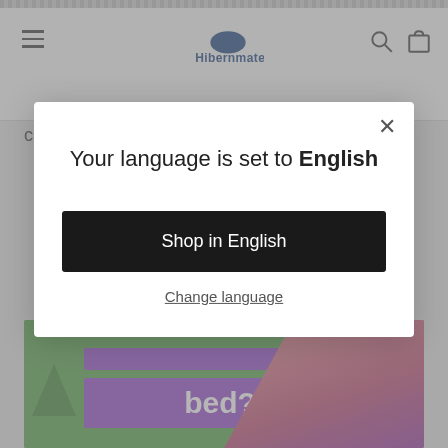Hibernmate [navigation header with logo, menu icon, search and cart icons]
cramped than a twin or double (full size) bed.
[Figure (screenshot): Video thumbnail showing a woman in a purple top against a green background with purple banners and text 'bed?']
Your language is set to English
Shop in English
Change language